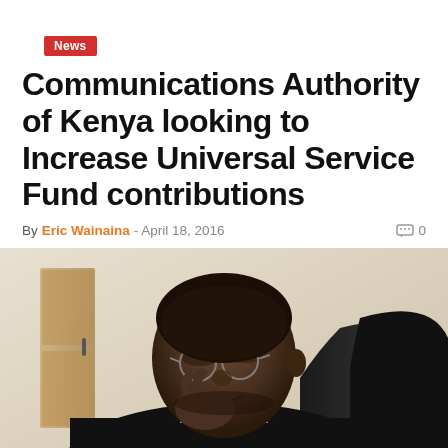News
Communications Authority of Kenya looking to Increase Universal Service Fund contributions
By Eric Wainaina - April 18, 2016  0
[Figure (photo): A man in a suit, leaning on his hand and adjusting his glasses, seated in a black chair in a bright indoor setting]